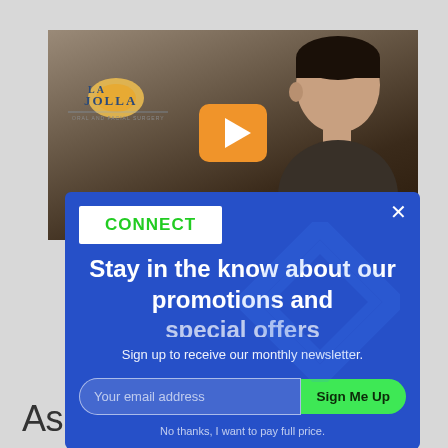[Figure (screenshot): Video thumbnail showing a man and La Jolla Oral and Facial Surgery logo with an orange play button overlay]
Stay in the know about our promotions and
Sign up to receive our monthly newsletter.
Your email address
Sign Me Up
No thanks, I want to pay full price.
Ask t